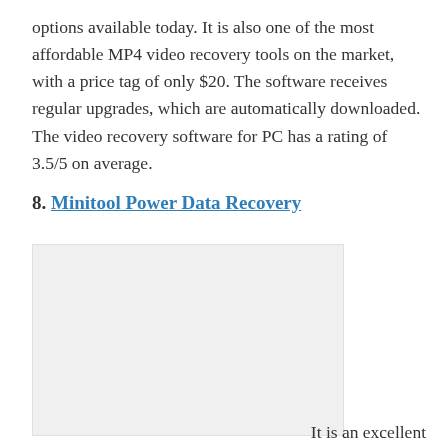options available today. It is also one of the most affordable MP4 video recovery tools on the market, with a price tag of only $20. The software receives regular upgrades, which are automatically downloaded. The video recovery software for PC has a rating of 3.5/5 on average.
8. Minitool Power Data Recovery
[Figure (screenshot): Screenshot or image of Minitool Power Data Recovery software, shown as a light gray placeholder box.]
It is an excellent